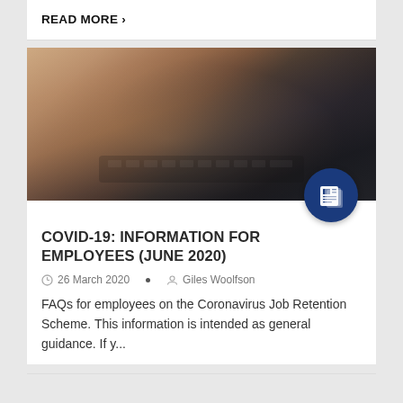READ MORE ›
[Figure (photo): Close-up photo of hands typing on a laptop keyboard, with dark clothing visible in the background. A news/article icon (newspaper graphic in a blue circle) overlays the bottom-right corner of the photo.]
COVID-19: INFORMATION FOR EMPLOYEES (JUNE 2020)
26 March 2020  •  Giles Woolfson
FAQs for employees on the Coronavirus Job Retention Scheme. This information is intended as general guidance. If y...